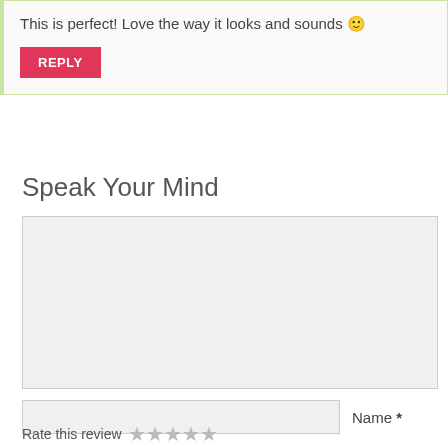This is perfect! Love the way it looks and sounds 🙂
REPLY
Speak Your Mind
[Figure (other): Empty comment textarea input box]
Name *
Email *
Website
Notify me of new posts by email.
Rate this review: ☆☆☆☆☆